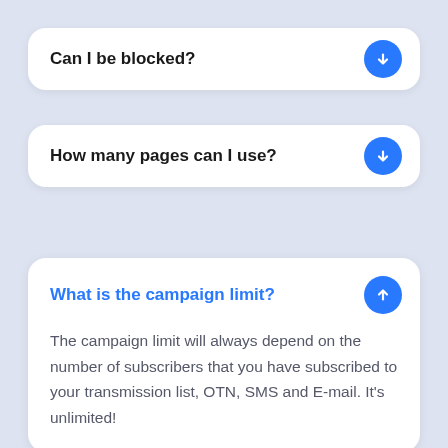Can I be blocked?
How many pages can I use?
What is the campaign limit?
The campaign limit will always depend on the number of subscribers that you have subscribed to your transmission list, OTN, SMS and E-mail. It's unlimited!